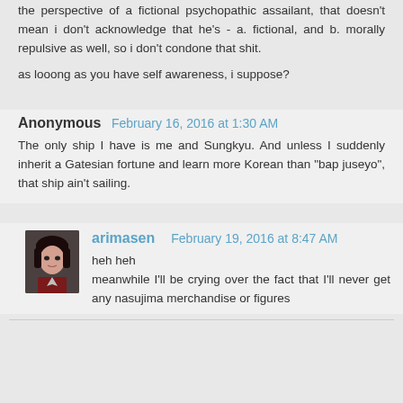the perspective of a fictional psychopathic assailant, that doesn't mean i don't acknowledge that he's - a. fictional, and b. morally repulsive as well, so i don't condone that shit.
as looong as you have self awareness, i suppose?
Anonymous  February 16, 2016 at 1:30 AM
The only ship I have is me and Sungkyu. And unless I suddenly inherit a Gatesian fortune and learn more Korean than "bap juseyo", that ship ain't sailing.
arimasen  February 19, 2016 at 8:47 AM
heh heh
meanwhile I'll be crying over the fact that I'll never get any nasujima merchandise or figures